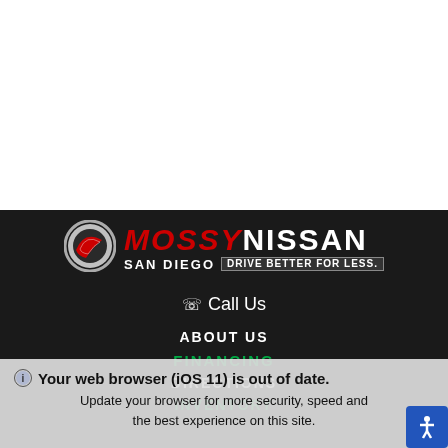[Figure (logo): Mossy Nissan San Diego logo with circular emblem, red MOSSY text, white NISSAN text, and tagline DRIVE BETTER FOR LESS.]
Call Us
ABOUT US
FINANCING
DIRECTIONS
INVENTORY
Your web browser (iOS 11) is out of date. Update your browser for more security, speed and the best experience on this site.